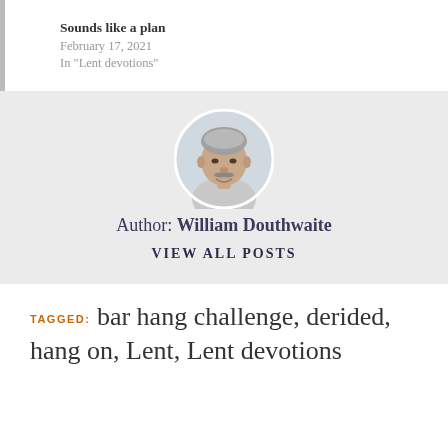Sounds like a plan
February 17, 2021
In "Lent devotions"
[Figure (photo): Circular portrait photo of William Douthwaite, a middle-aged man with gray hair and a mustache, smiling]
Author: William Douthwaite
VIEW ALL POSTS
TAGGED: bar hang challenge, derided, hang on, Lent, Lent devotions